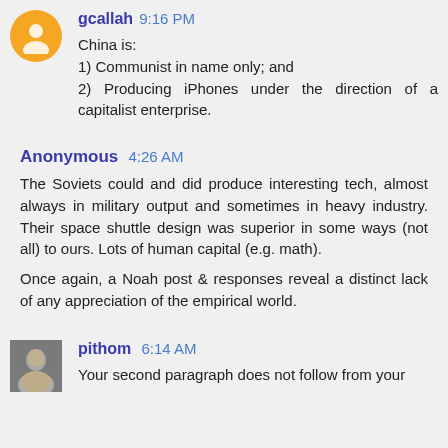gcallah 9:16 PM
China is:
1) Communist in name only; and
2) Producing iPhones under the direction of a capitalist enterprise.
Anonymous 4:26 AM
The Soviets could and did produce interesting tech, almost always in military output and sometimes in heavy industry. Their space shuttle design was superior in some ways (not all) to ours. Lots of human capital (e.g. math).
Once again, a Noah post & responses reveal a distinct lack of any appreciation of the empirical world.
pithom 6:14 AM
Your second paragraph does not follow from your